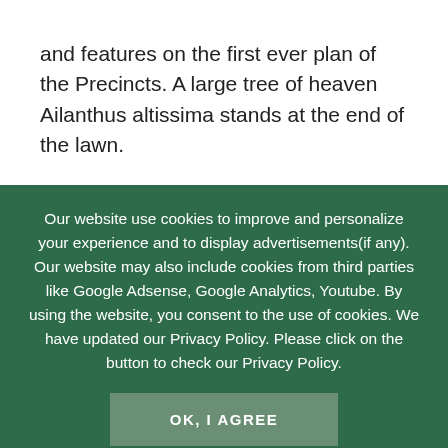and features on the first ever plan of the Precincts. A large tree of heaven Ailanthus altissima stands at the end of the lawn.
No 15 garden: a lot of work has been done in there since Canon Nick (now Dean of
Our website use cookies to improve and personalize your experience and to display advertisements(if any). Our website may also include cookies from third parties like Google Adsense, Google Analytics, Youtube. By using the website, you consent to the use of cookies. We have updated our Privacy Policy. Please click on the button to check our Privacy Policy.
OK, I AGREE